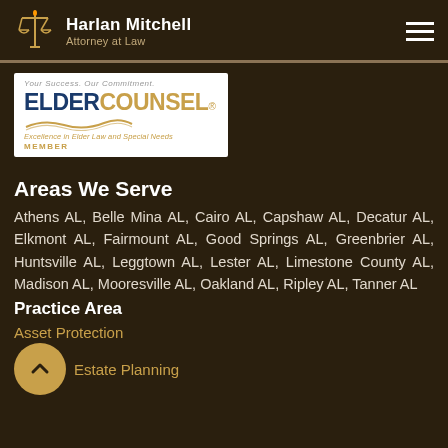Harlan Mitchell Attorney at Law
[Figure (logo): ElderCounsel Member logo — blue and gold text on white background with wave graphic, tagline 'Excellence in Elder Law and Special Needs', 'MEMBER' in gold]
Areas We Serve
Athens AL, Belle Mina AL, Cairo AL, Capshaw AL, Decatur AL, Elkmont AL, Fairmount AL, Good Springs AL, Greenbrier AL, Huntsville AL, Leggtown AL, Lester AL, Limestone County AL, Madison AL, Mooresville AL, Oakland AL, Ripley AL, Tanner AL
Practice Area
Asset Protection
Estate Planning